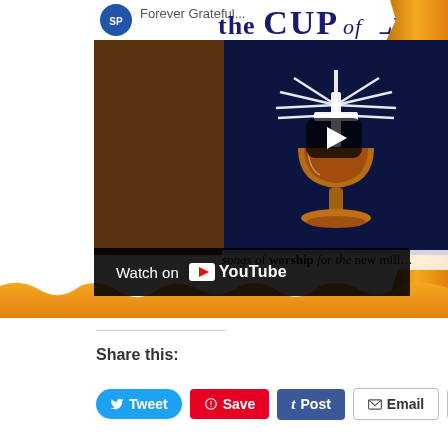[Figure (screenshot): YouTube embedded video showing a religious album 'Forever Grateful / the CUP of Life' with a chalice illustration on dark navy background, songs of worship for the new millennium. Includes Watch on YouTube overlay bar with play button.]
Share this:
[Figure (other): Tweet button (blue, rounded)]
[Figure (other): Save button (red/Pinterest)]
[Figure (other): Post button (dark blue/Tumblr)]
[Figure (other): Email button (white with border)]
[Figure (other): More button (white with border)]